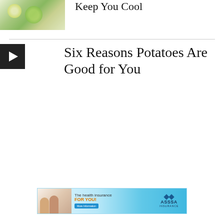[Figure (photo): Photo of citrus/green vegetables on white cloth — lemons, limes, herbs]
Keep You Cool
[Figure (other): Dark square play button icon for video thumbnail]
Six Reasons Potatoes Are Good for You
[Figure (other): ASSSA Insurance advertisement banner: 'The health insurance FOR YOU! More Information' with people and logo]